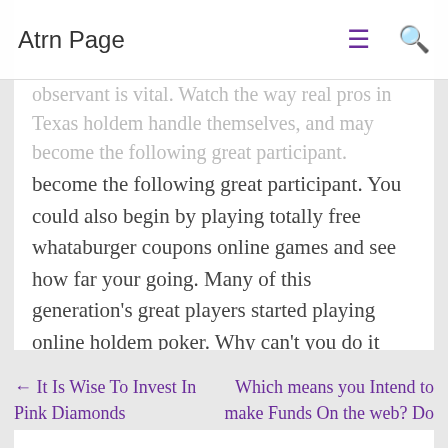Atrn Page
observant is vital. Watch the way real pros in Texas holdem handle themselves, and may become the following great participant. You could also begin by playing totally free whataburger coupons online games and see how far your going. Many of this generation's great players started playing online holdem poker. Why can't you do it too?
Casino
← It Is Wise To Invest In Pink Diamonds
Which means you Intend to make Funds On the web? Do You may have What it will require? →